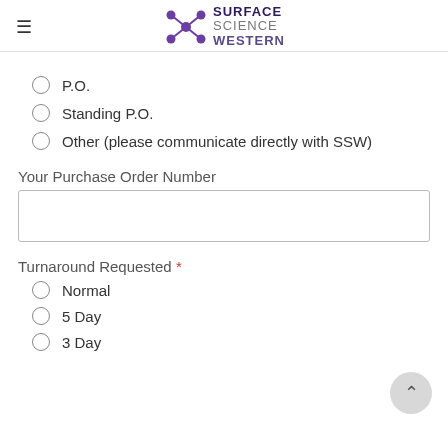Surface Science Western
P.O.
Standing P.O.
Other (please communicate directly with SSW)
Your Purchase Order Number
Turnaround Requested *
Normal
5 Day
3 Day